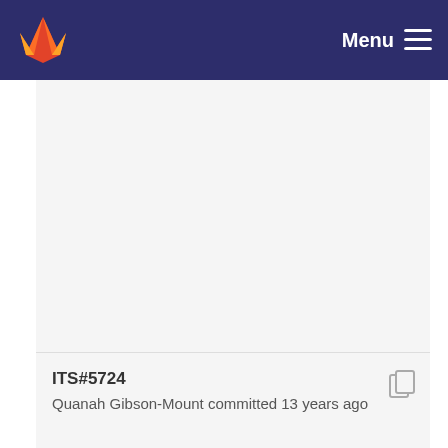GitLab — Menu
ITS#5724
Quanah Gibson-Mount committed 13 years ago
ITS#5927
Quanah Gibson-Mount committed 13 years ago